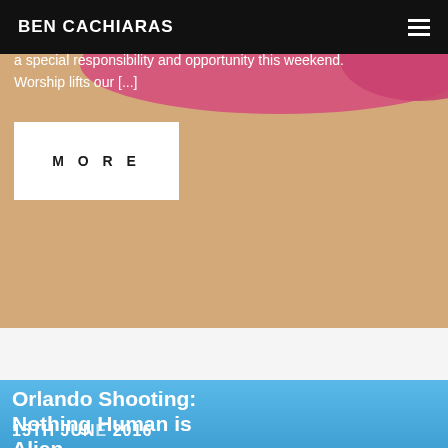BEN CACHIARAS
a special responsibility and opportunity this weekend. Worship lifts our [...]
MORE
Orlando Shooting: Nothing Human is Alien
15TH JUNE 2016